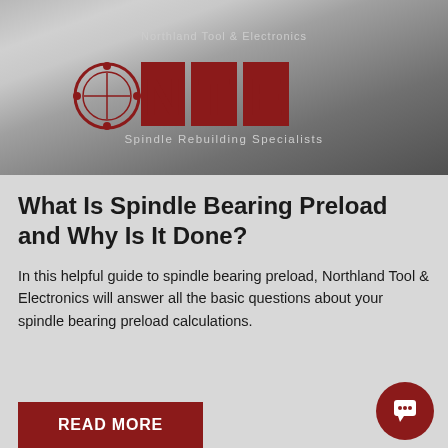[Figure (logo): Northland Tool & Electronics NTE logo with red block letters on brushed metal background, subtitle: Spindle Rebuilding Specialists]
What Is Spindle Bearing Preload and Why Is It Done?
In this helpful guide to spindle bearing preload, Northland Tool & Electronics will answer all the basic questions about your spindle bearing preload calculations.
READ MORE